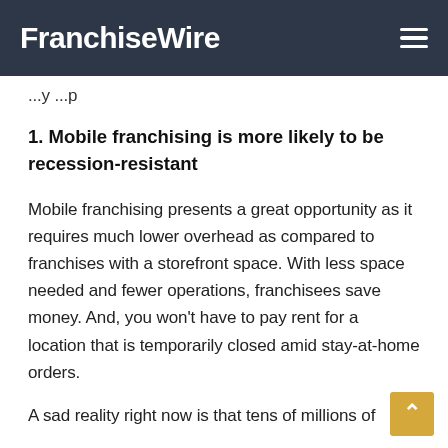FranchiseWire
...y ...p
1. Mobile franchising is more likely to be recession-resistant
Mobile franchising presents a great opportunity as it requires much lower overhead as compared to franchises with a storefront space. With less space needed and fewer operations, franchisees save money. And, you won't have to pay rent for a location that is temporarily closed amid stay-at-home orders.
A sad reality right now is that tens of millions of